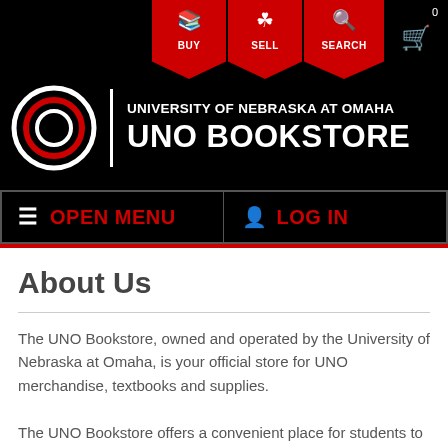[Figure (logo): University of Nebraska at Omaha UNO Bookstore logo with red O icon, navigation icons for BUY, SELL, SEARCH, and cart on black background]
[Figure (screenshot): Navigation bar with OPEN MENU (hamburger) and LOG IN buttons on black background with red text]
About Us
The UNO Bookstore, owned and operated by the University of Nebraska at Omaha, is your official store for UNO merchandise, textbooks and supplies.
The UNO Bookstore offers a convenient place for students to get everything they need for their academic career. Our large